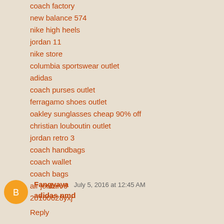coach factory
new balance 574
nike high heels
jordan 11
nike store
columbia sportswear outlet
adidas
coach purses outlet
ferragamo shoes outlet
oakley sunglasses cheap 90% off
christian louboutin outlet
jordan retro 3
coach handbags
coach wallet
coach bags
air jordan 6
20160628yxj
Reply
Fangyaya  July 5, 2016 at 12:45 AM
adidas nmd